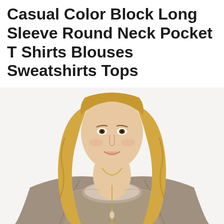Casual Color Block Long Sleeve Round Neck Pocket T Shirts Blouses Sweatshirts Tops
[Figure (photo): A blonde woman wearing a casual gray/taupe color block long sleeve round neck sweatshirt top with a gold pendant necklace, smiling, white background, cropped from shoulders up with the top visible.]